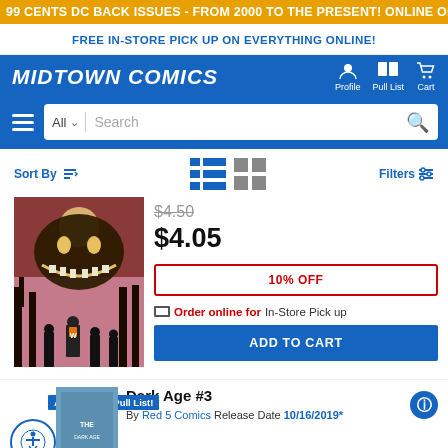99 CENTS DC BACK ISSUES - FROM 2000 TO THE PRESENT! ONLINE ONLY, TODAY ONLY!
FREE IN-STORE PICK UP ON EVERYTHING ONLINE!
MIDTOWN COMICS
Profile  Pull List  Cart
All  Search
Sort By  Filters
[Figure (photo): Comic book cover showing a creepy large face with a wide grin in the sky above silhouetted trees and figures below in a pink/purple dusk atmosphere. A character wearing an orange W symbol stands among a group.]
$4.50 (strikethrough)
$4.05
10% OFF
Order online for In-Store Pick up
ADD TO CART
Available for Pull List!
Dark Age #3
By  Red 5 Comics  Release Date  10/16/2019*